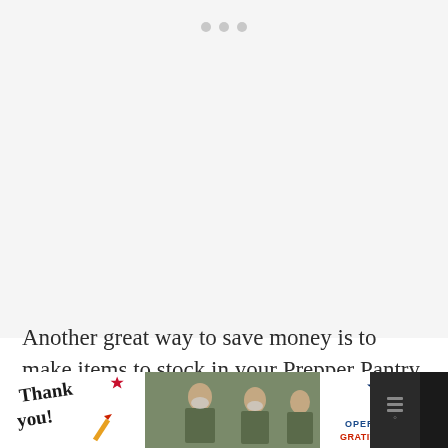[Figure (other): Grey placeholder area with three grey dots at the top center, representing a loading or empty image slot]
Another great way to save money is to make items to stock in your Prepper Pantry. In doing so, you not only help to extend your grocery budget, but you also gain essential skills to help you along your journey from a processed foods kitchen to a traditional foods kitchen.
[Figure (infographic): Advertisement banner: 'Thank you!' handwritten text with US flag star graphic and pencil, military personnel photo in center, Operation Gratitude logo on right with close button, dark sidebar with menu bars icon]